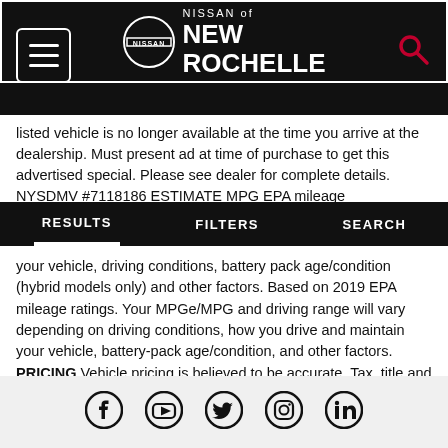Nissan of New Rochelle
listed vehicle is no longer available at the time you arrive at the dealership. Must present ad at time of purchase to get this advertised special. Please see dealer for complete details. NYSDMV #7118186 ESTIMATE MPG EPA mileage
RESULTS  FILTERS  SEARCH
your vehicle, driving conditions, battery pack age/condition (hybrid models only) and other factors. Based on 2019 EPA mileage ratings. Your MPGe/MPG and driving range will vary depending on driving conditions, how you drive and maintain your vehicle, battery-pack age/condition, and other factors. PRICING Vehicle pricing is believed to be accurate. Tax, title and registration are not included in prices shown unless otherwise stated. Manufacturer incentives may vary by region and are subject to change. Vehicle information & features are based upon standard equipment and may vary by vehicle. Monthly payments may be higher or lower based upon incentives, qualifying programs, credit qualifications, residency & fees. No claims, or warranties are made to guarantee the accuracy of vehicle pricing, payments or actual equipment. Call to confirm accuracy of any information.
Social media icons: Facebook, YouTube, Twitter, Instagram, LinkedIn